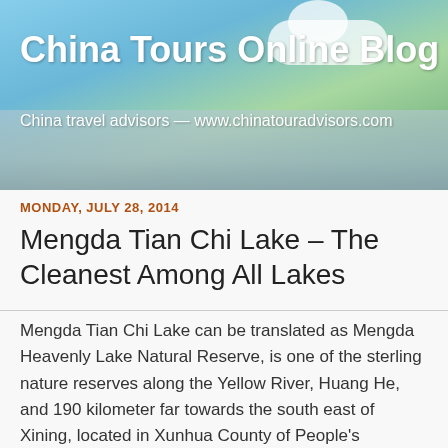[Figure (photo): Blog header banner with blue sky, clouds, road, and green trees on both sides. Text overlay: 'China Tours Online Blog' and 'China travel advisors — www.chinatouradvisors.com']
China Tours Online Blog
China travel advisors — www.chinatouradvisors.com
MONDAY, JULY 28, 2014
Mengda Tian Chi Lake – The Cleanest Among All Lakes
Mengda Tian Chi Lake can be translated as Mengda Heavenly Lake Natural Reserve, is one of the sterling nature reserves along the Yellow River, Huang He, and 190 kilometer far towards the south east of Xining, located in Xunhua County of People's Republic of China.  The lake is considered as a scared one for both the Sala Muslims and Tibetan Buddhists.  Tourists are encouraged to trek through the mud track along Huang He which will take two and half hours to reach to the lake area. The entire Tianchi Lake is surrounded by deep forest full of drooping trees and lush greeneries.  The lake is 2,504 meter long and 700 meters wide.